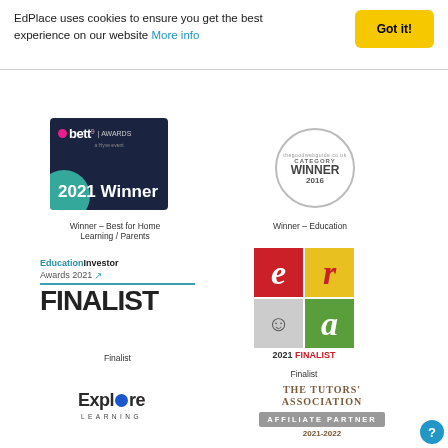EdPlace uses cookies to ensure you get the best experience on our website More info Got it!
[Figure (logo): Bett Awards 2021 Winner badge - dark blue background with white text]
Winner - Best for Home Learning / Parents
[Figure (logo): The Good Web Guide thegoodwebguide.co.uk Category Winner 2016 circular stamp]
Winner - Education
[Figure (logo): EducationInvestor Awards 2021 Finalist badge]
Finalist
[Figure (logo): ERA 2021 Finalist badge with red, yellow, grey and green quadrants]
Finalist
[Figure (logo): Explore Learning logo]
[Figure (logo): The Tutors Association Affiliate Partner 2021-2022 badge]